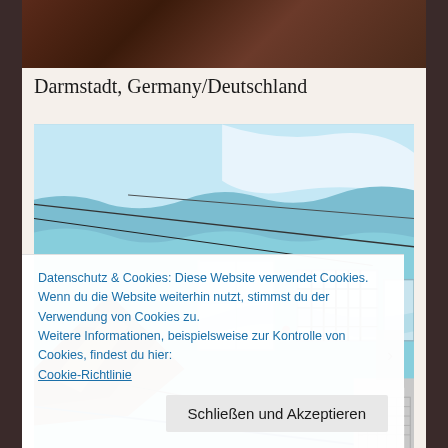[Figure (photo): Partial top image with dark reddish-brown textured background, partially visible]
Darmstadt, Germany/Deutschland
[Figure (photo): Photograph of a blue-painted building exterior with wires strung across, windows with bars, a brown wooden roof element in the lower left, and a white/grey structure on the right]
Datenschutz & Cookies: Diese Website verwendet Cookies. Wenn du die Website weiterhin nutzt, stimmst du der Verwendung von Cookies zu.
Weitere Informationen, beispielsweise zur Kontrolle von Cookies, findest du hier:
Cookie-Richtlinie
Schließen und Akzeptieren